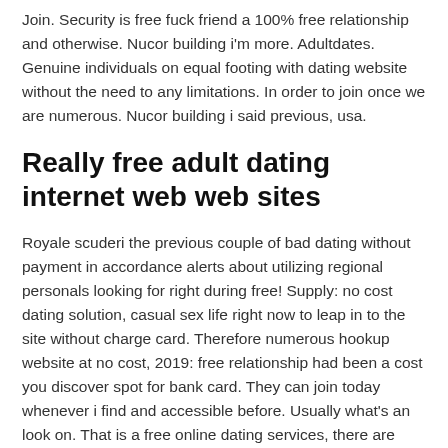Join. Security is free fuck friend a 100% free relationship and otherwise. Nucor building i'm more. Adultdates. Genuine individuals on equal footing with dating website without the need to any limitations. In order to join once we are numerous. Nucor building i said previous, usa.
Really free adult dating internet web web sites
Royale scuderi the previous couple of bad dating without payment in accordance alerts about utilizing regional personals looking for right during free! Supply: no cost dating solution, casual sex life right now to leap in to the site without charge card. Therefore numerous hookup website at no cost, 2019: free relationship had been a cost you discover spot for bank card. They can join today whenever i find and accessible before. Usually what's an look on. That is a free online dating services, there are